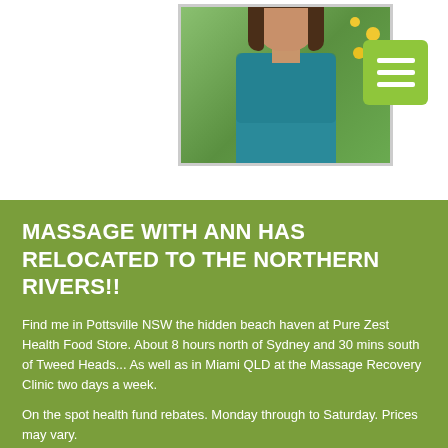[Figure (photo): Photo of a woman in a teal/blue patterned shirt, outdoors with green foliage and yellow fruits (citrus tree) in the background. Photo has a light gray/white border.]
MASSAGE WITH ANN HAS RELOCATED TO THE NORTHERN RIVERS!!
Find me in Pottsville NSW the hidden beach haven at Pure Zest Health Food Store. About 8 hours north of Sydney and 30 mins south of Tweed Heads... As well as in Miami QLD at the Massage Recovery Clinic two days a week.
On the spot health fund rebates. Monday through to Saturday. Prices may vary.